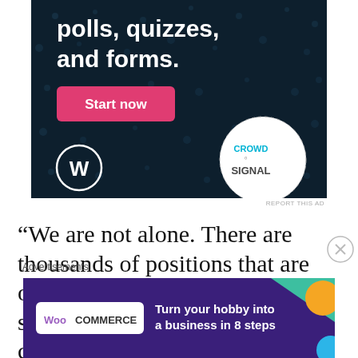[Figure (screenshot): Dark navy blue advertisement banner for Crowdsignal/WordPress featuring text 'polls, quizzes, and forms.' with a pink 'Start now' button, WordPress logo bottom left, and Crowdsignal logo in a dotted circle bottom right]
REPORT THIS AD
“We are not alone. There are thousands of positions that are open [in the northern part of the state] and now we have a challenge to work through, you know, with the
Advertisements
[Figure (screenshot): WooCommerce advertisement banner with purple/dark background, WooCommerce logo on left, colorful geometric shapes on right, text: 'Turn your hobby into a business in 8 steps']